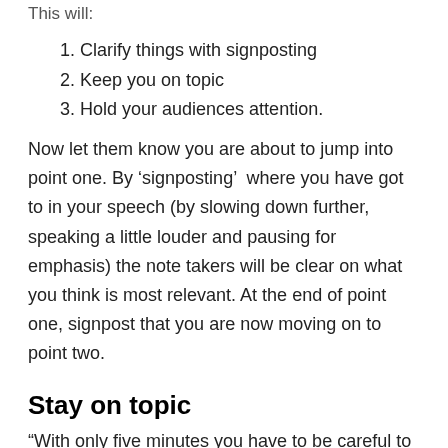This will:
Clarify things with signposting
Keep you on topic
Hold your audiences attention.
Now let them know you are about to jump into point one. By 'signposting'  where you have got to in your speech (by slowing down further, speaking a little louder and pausing for emphasis) the note takers will be clear on what you think is most relevant. At the end of point one, signpost that you are now moving on to point two.
Stay on topic
“With only five minutes you have to be careful to stay on point. Wild tangents are fun but there just isn’t time. In fact, you will be surprised and perhaps horrified by just how little